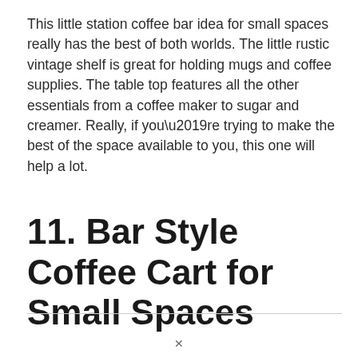This little station coffee bar idea for small spaces really has the best of both worlds. The little rustic vintage shelf is great for holding mugs and coffee supplies. The table top features all the other essentials from a coffee maker to sugar and creamer. Really, if you’re trying to make the best of the space available to you, this one will help a lot.
11. Bar Style Coffee Cart for Small Spaces